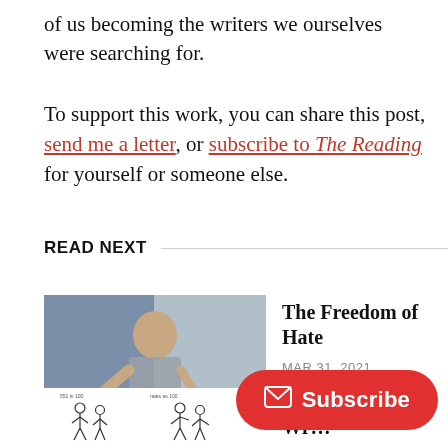of us becoming the writers we ourselves were searching for.
To support this work, you can share this post, send me a letter, or subscribe to The Reading for yourself or someone else.
READ NEXT
[Figure (photo): Photo of a person standing indoors against a colorful background]
The Freedom of Hate
MAR 31, 2021
[Figure (illustration): Stick figure illustrations with labels, two groups shown]
Beginning The Wr…
AUG 7, 2020